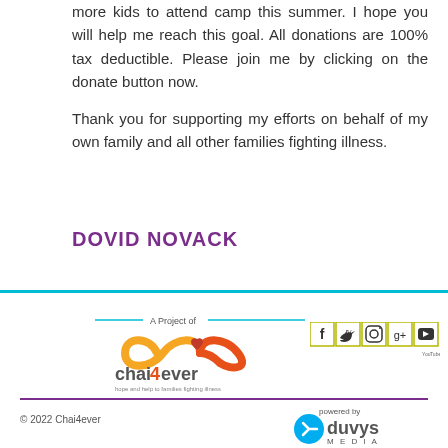more kids to attend camp this summer. I hope you will help me reach this goal. All donations are 100% tax deductible. Please join me by clicking on the donate button now.
Thank you for supporting my efforts on behalf of my own family and all other families fighting illness.
DOVID NOVACK
[Figure (logo): Chai4ever logo with infinity symbol in orange and red, with text 'chai4ever' and tagline 'hope and help to families fighting illness', under 'A Project of' header with cyan lines]
[Figure (other): Social media icons in square boxes: Facebook, Twitter, Instagram, Google+, YouTube]
© 2022 Chai4ever
[Figure (logo): Duvys Media logo with 'powered by duvys MEDIA' text and blue circular icon]